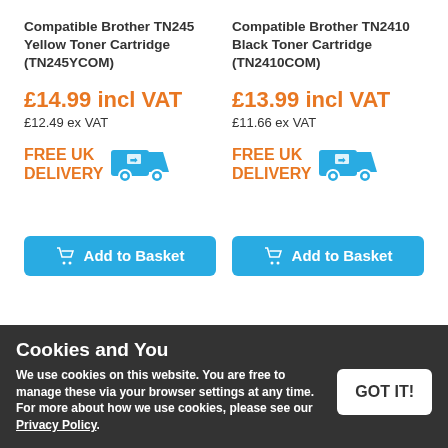Compatible Brother TN245 Yellow Toner Cartridge (TN245YCOM)
Compatible Brother TN2410 Black Toner Cartridge (TN2410COM)
£14.99 incl VAT
£13.99 incl VAT
£12.49 ex VAT
£11.66 ex VAT
[Figure (infographic): FREE UK DELIVERY with truck icon - left product]
[Figure (infographic): FREE UK DELIVERY with truck icon - right product]
Add to Basket
Add to Basket
Cookies and You
We use cookies on this website. You are free to manage these via your browser settings at any time. For more about how we use cookies, please see our Privacy Policy.
GOT IT!